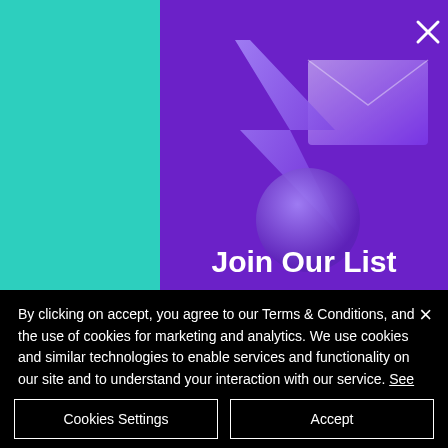[Figure (illustration): Purple background with abstract glossy 3D shapes (envelope, arrow/lightning bolt, sphere) and white X close button. Text 'Join Our List' in white bold font at bottom. Left portion shows teal/cyan background with partial review text overlay.]
By clicking on accept, you agree to our Terms & Conditions, and the use of cookies for marketing and analytics. We use cookies and similar technologies to enable services and functionality on our site and to understand your interaction with our service. See Privacy Policy
Cookies Settings
Accept